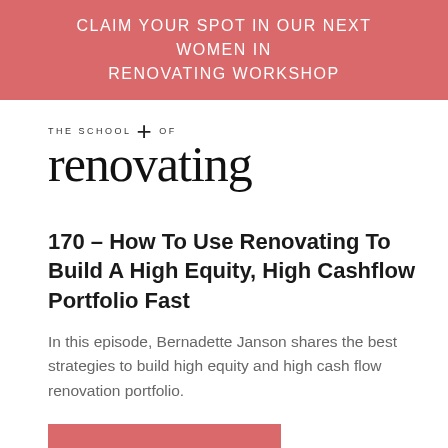CLAIM YOUR SPOT IN OUR NEXT WOMEN IN RENOVATING WORKSHOP
[Figure (logo): The School of Renovating logo with script font and plus icon]
170 – How To Use Renovating To Build A High Equity, High Cashflow Portfolio Fast
In this episode, Bernadette Janson shares the best strategies to build high equity and high cash flow renovation portfolio.
READ MORE